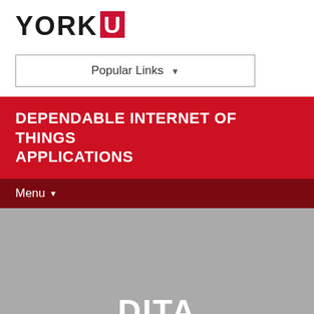[Figure (logo): York University logo: YORK text followed by red U block logo]
Popular Links ▾
DEPENDABLE INTERNET OF THINGS APPLICATIONS
Menu ▾
[Figure (screenshot): Gray banner area with large white bold text 'DITA' centered near bottom]